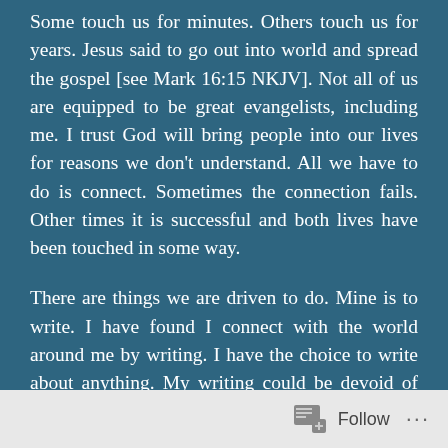Some touch us for minutes. Others touch us for years. Jesus said to go out into world and spread the gospel [see Mark 16:15 NKJV]. Not all of us are equipped to be great evangelists, including me. I trust God will bring people into our lives for reasons we don't understand. All we have to do is connect. Sometimes the connection fails. Other times it is successful and both lives have been touched in some way.
There are things we are driven to do. Mine is to write. I have found I connect with the world around me by writing. I have the choice to write about anything. My writing could be devoid of God. I could choose to keep my writing private and never share it with the world.
Follow ...